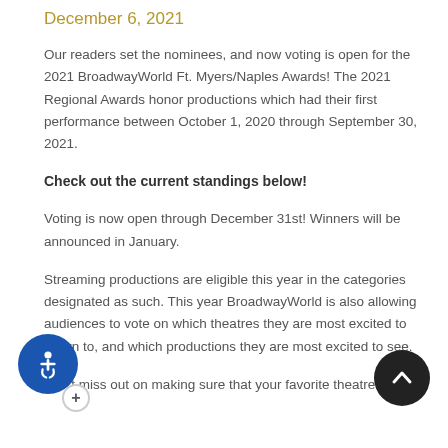December 6, 2021
Our readers set the nominees, and now voting is open for the 2021 BroadwayWorld Ft. Myers/Naples Awards! The 2021 Regional Awards honor productions which had their first performance between October 1, 2020 through September 30, 2021.
Check out the current standings below!
Voting is now open through December 31st! Winners will be announced in January.
Streaming productions are eligible this year in the categories designated as such. This year BroadwayWorld is also allowing audiences to vote on which theatres they are most excited to return to, and which productions they are most excited to see.
Don't miss out on making sure that your favorite theatres,